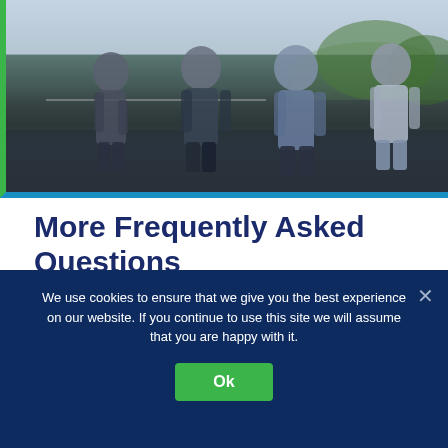[Figure (photo): Four men standing together outdoors on a rooftop or elevated area with a city skyline and greenery visible in the background. The photo has a green left border and blue bottom border.]
More Frequently Asked Questions
What is Building Information Modeling (BIM)?
We use cookies to ensure that we give you the best experience on our website. If you continue to use this site we will assume that you are happy with it.